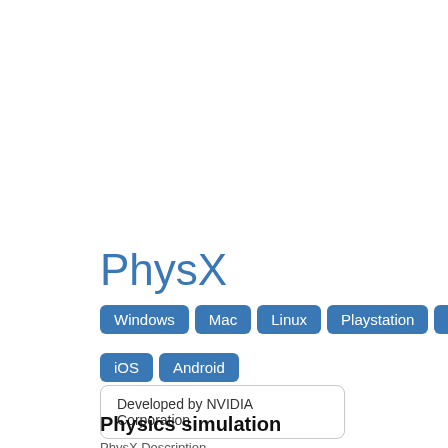PhysX
Windows  Mac  Linux  Playstation  Xbox  iOS  Android
Developed by NVIDIA Corporation
Physics simulation
PhysX Description